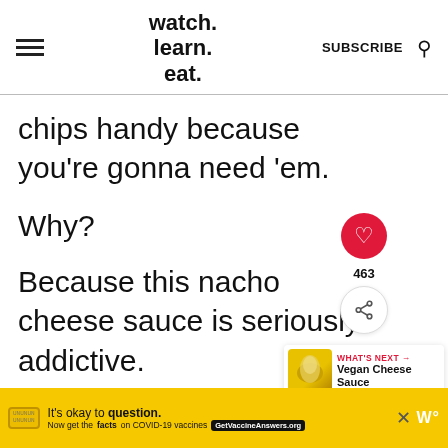watch. learn. eat. | SUBSCRIBE
chips handy because you're gonna need 'em.
Why?
Because this nacho cheese sauce is seriously addictive.
Seriously.
[Figure (other): What's Next panel showing Vegan Cheese Sauce thumbnail with heart (463 likes) and share buttons]
[Figure (other): Advertisement banner: It's okay to question. Now get the facts on COVID-19 vaccines. GetVaccineAnswers.org]